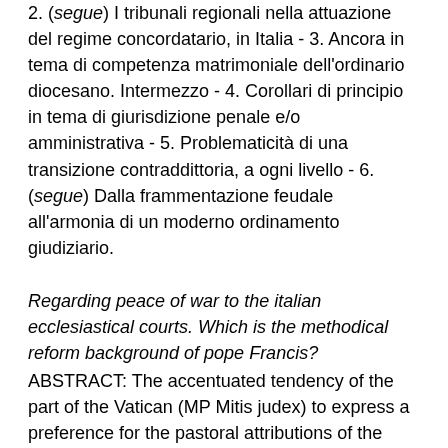2. (segue) I tribunali regionali nella attuazione del regime concordatario, in Italia - 3. Ancora in tema di competenza matrimoniale dell'ordinario diocesano. Intermezzo - 4. Corollari di principio in tema di giurisdizione penale e/o amministrativa - 5. Problematicità di una transizione contraddittoria, a ogni livello - 6. (segue) Dalla frammentazione feudale all'armonia di un moderno ordinamento giudiziario.
Regarding peace of war to the italian ecclesiastical courts. Which is the methodical reform background of pope Francis?
ABSTRACT: The accentuated tendency of the part of the Vatican (MP Mitis judex) to express a preference for the pastoral attributions of the diocesan bishop in terms of judgment of nullity of canonical marriage, in competition with those of